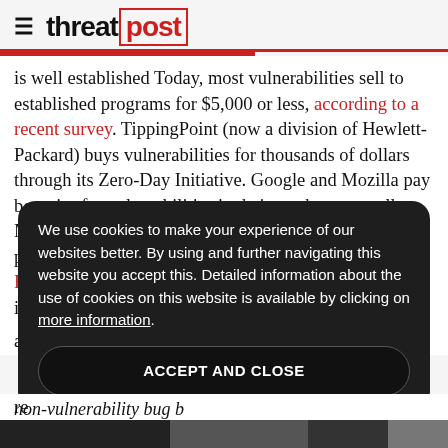threatpost
is well established Today, most vulnerabilities sell to established programs for $5,000 or less, according to a recent survey. TippingPoint (now a division of Hewlett-Packard) buys vulnerabilities for thousands of dollars through its Zero-Day Initiative. Google and Mozilla pay bounties for vulnerabilities in their products as well. More recent entrants into the ranks of private firms that pay for information on security holes include firms like Barracuda Networks. The U.S. Government and intelligence a...
We use cookies to make your experience of our websites better. By using and further navigating this website you accept this. Detailed information about the use of cookies on this website is available by clicking on more information.
ACCEPT AND CLOSE
re...
non-vulnerability bug b...